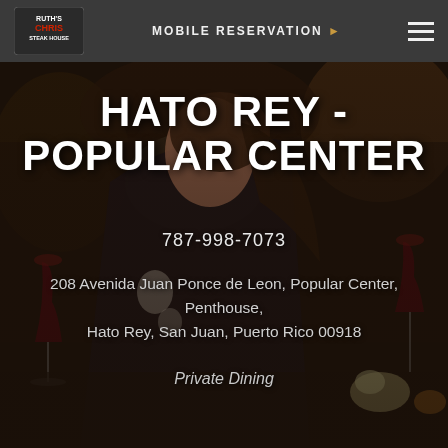MOBILE RESERVATION ▶
[Figure (photo): Background photo of a woman smiling at a fine dining table with wine glasses, flowers, and candles]
HATO REY - POPULAR CENTER
787-998-7073
208 Avenida Juan Ponce de Leon, Popular Center, Penthouse, Hato Rey, San Juan, Puerto Rico 00918
Private Dining